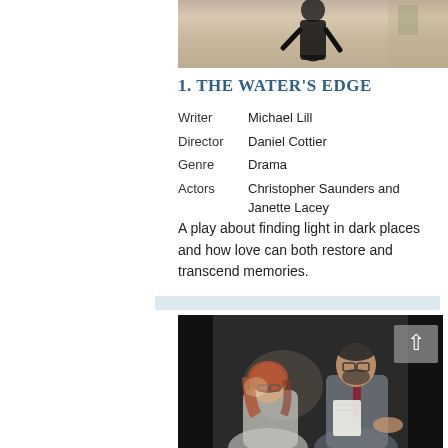[Figure (photo): Top portion of a theatrical performance photo showing a figure in black dress on stage]
1.  THE WATER'S EDGE
| Writer | Michael Lill |
| Director | Daniel Cottier |
| Genre | Drama |
| Actors | Christopher Saunders and Janette Lacey |
A play about finding light in dark places and how love can both restore and transcend memories.
[Figure (photo): Theatrical production photo showing two actors: a woman with red hair and glasses looking down, and a bearded man in a suit holding papers gesturing with his hand. A back-to-top navigation button is overlaid on the image.]